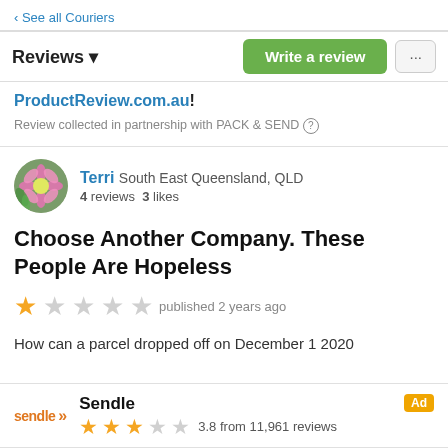‹ See all Couriers
Reviews ▾
ProductReview.com.au!
Review collected in partnership with PACK & SEND ©
Terri South East Queensland, QLD
4 reviews 3 likes
Choose Another Company. These People Are Hopeless
★ (1 star) published 2 years ago
How can a parcel dropped off on December 1 2020
Sendle
★★★☆☆ 3.8 from 11,961 reviews
Ad